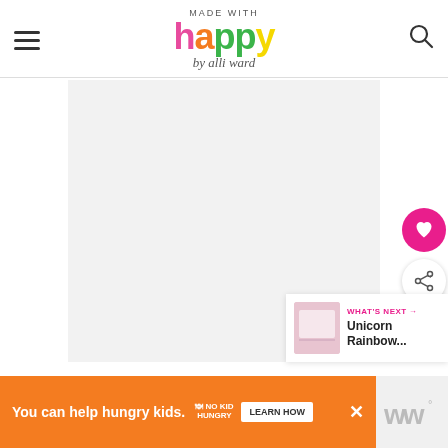MADE WITH happy by alli ward
[Figure (photo): Large white/light gray content area — main recipe or craft photo placeholder]
[Figure (infographic): Pink heart favorite button and share button on right side]
WHAT'S NEXT → Unicorn Rainbow...
You can help hungry kids. NO KID HUNGRY LEARN HOW